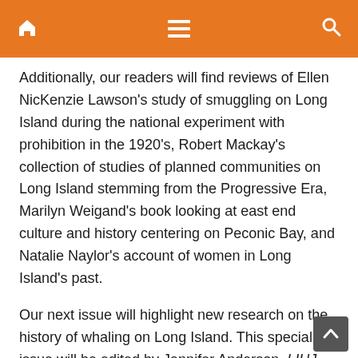Navigation header with home, menu, and search icons
Additionally, our readers will find reviews of Ellen NicKenzie Lawson's study of smuggling on Long Island during the national experiment with prohibition in the 1920's, Robert Mackay's collection of studies of planned communities on Long Island stemming from the Progressive Era, Marilyn Weigand's book looking at east end culture and history centering on Peconic Bay, and Natalie Naylor's account of women in Long Island's past.
Our next issue will highlight new research on the history of whaling on Long Island. This special issue will be edited by Jennifer Anderson, LIHJ Associate Editor, and our Guest Editor, Jenna Wallace Coplin, a doctoral candidate in Archaeology at the City University of New York. Jenna previously compiled a survey of African American historic sites, entitled, “Mapping African American History across Long Island” which appeared in the Long Island History Journal in 2013 (Vol. 23-2) and we are grateful for